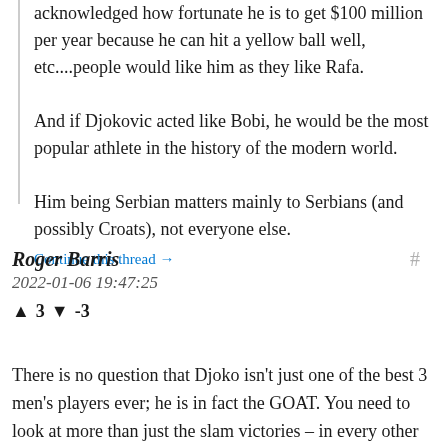acknowledged how fortunate he is to get $100 million per year because he can hit a yellow ball well, etc....people would like him as they like Rafa.

And if Djokovic acted like Bobi, he would be the most popular athlete in the history of the modern world.

Him being Serbian matters mainly to Serbians (and possibly Croats), not everyone else.
Continue this thread →
Roger Barris
2022-01-06 19:47:25
↑ 3 ↓ -3
There is no question that Djoko isn't just one of the best 3 men's players ever; he is in fact the GOAT. You need to look at more than just the slam victories – in every other parameter, Djoko is the best: the most ATP 1000 victories, the most weeks ranked #1 in tennis (by a long shot and still